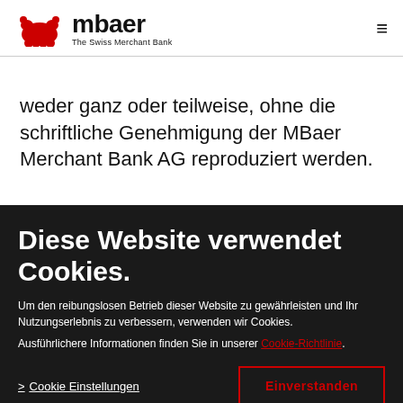[Figure (logo): mbaer - The Swiss Merchant Bank logo with red bear icon]
weder ganz oder teilweise, ohne die schriftliche Genehmigung der MBaer Merchant Bank AG reproduziert werden.
ALLE
MBAER NECESSITIES
Diese Website verwendet Cookies.
Um den reibungslosen Betrieb dieser Website zu gewährleisten und Ihr Nutzungserlebnis zu verbessern, verwenden wir Cookies.
Ausführlichere Informationen finden Sie in unserer Cookie-Richtlinie.
> Cookie Einstellungen
Einverstanden